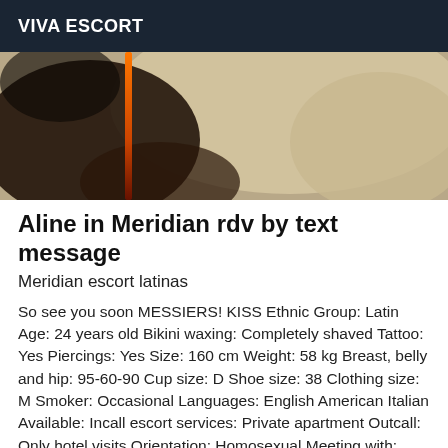VIVA ESCORT
[Figure (photo): Close-up photo with dark and skin-tone areas, an orange/red vertical element visible]
Aline in Meridian rdv by text message
Meridian escort latinas
So see you soon MESSIERS! KISS Ethnic Group: Latin Age: 24 years old Bikini waxing: Completely shaved Tattoo: Yes Piercings: Yes Size: 160 cm Weight: 58 kg Breast, belly and hip: 95-60-90 Cup size: D Shoe size: 38 Clothing size: M Smoker: Occasional Languages: English American Italian Available: Incall escort services: Private apartment Outcall: Only hotel visits Orientation: Homosexual Meeting with: Men Men City: Meridian (United States)